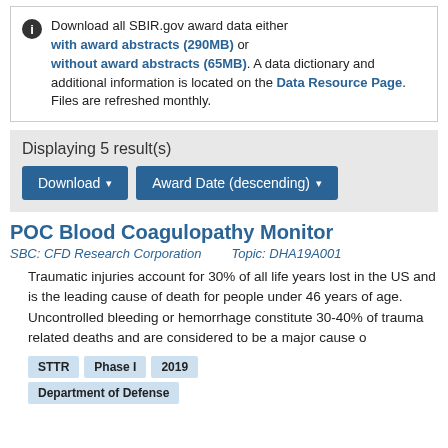Download all SBIR.gov award data either with award abstracts (290MB) or without award abstracts (65MB). A data dictionary and additional information is located on the Data Resource Page. Files are refreshed monthly.
Displaying 5 result(s)
Download | Award Date (descending)
POC Blood Coagulopathy Monitor
SBC: CFD Research Corporation   Topic: DHA19A001
Traumatic injuries account for 30% of all life years lost in the US and is the leading cause of death for people under 46 years of age. Uncontrolled bleeding or hemorrhage constitute 30-40% of trauma related deaths and are considered to be a major cause o
STTR
Phase I
2019
Department of Defense